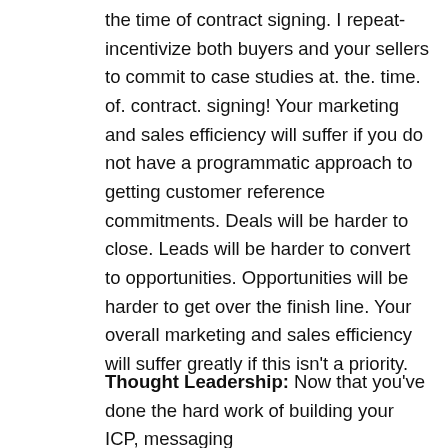the time of contract signing. I repeat-incentivize both buyers and your sellers to commit to case studies at. the. time. of. contract. signing! Your marketing and sales efficiency will suffer if you do not have a programmatic approach to getting customer reference commitments. Deals will be harder to close. Leads will be harder to convert to opportunities. Opportunities will be harder to get over the finish line. Your overall marketing and sales efficiency will suffer greatly if this isn't a priority.
Thought Leadership: Now that you've done the hard work of building your ICP, messaging